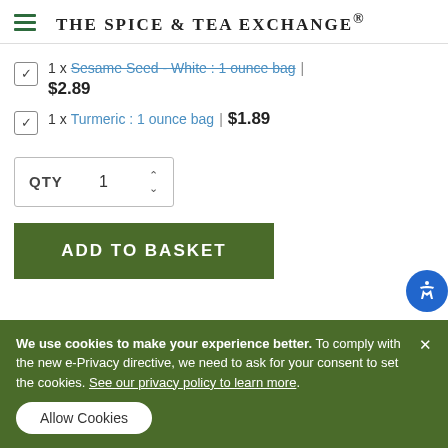THE SPICE & TEA EXCHANGE®
1 x Sesame Seed - White : 1 ounce bag | $2.89
1 x Turmeric : 1 ounce bag | $1.89
QTY 1
ADD TO BASKET
We use cookies to make your experience better. To comply with the new e-Privacy directive, we need to ask for your consent to set the cookies. See our privacy policy to learn more.
Allow Cookies